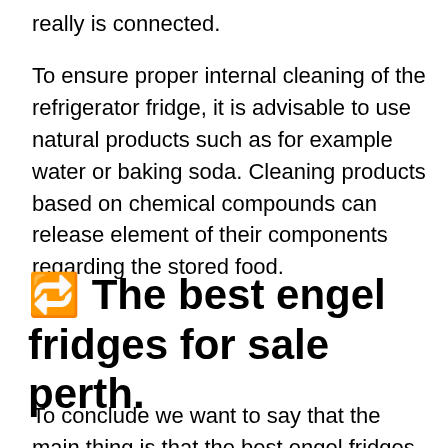really is connected.
To ensure proper internal cleaning of the refrigerator fridge, it is advisable to use natural products such as for example water or baking soda. Cleaning products based on chemical compounds can release element of their components regarding the stored food.
🔁 The best engel fridges for sale perth.
To conclude we want to say that the main thing is that the best engel fridges for sale perth last